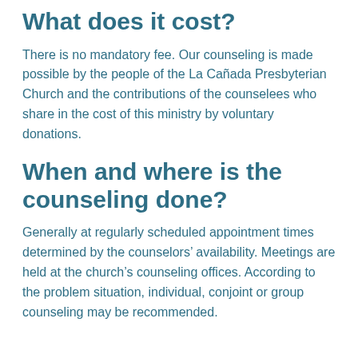What does it cost?
There is no mandatory fee. Our counseling is made possible by the people of the La Cañada Presbyterian Church and the contributions of the counselees who share in the cost of this ministry by voluntary donations.
When and where is the counseling done?
Generally at regularly scheduled appointment times determined by the counselors' availability. Meetings are held at the church's counseling offices. According to the problem situation, individual, conjoint or group counseling may be recommended.